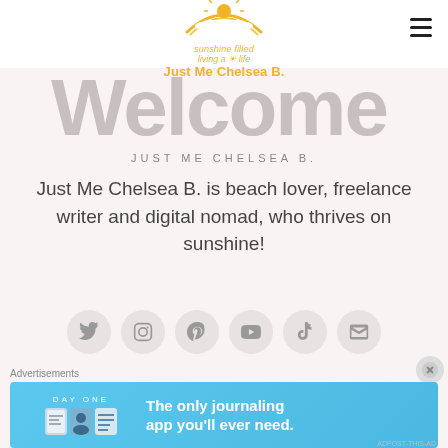[Figure (logo): Sunshine filled living a sunshine filled life - Just Me Chelsea B. logo with rainbow and sun illustration]
Welcome
JUST ME CHELSEA B.
Just Me Chelsea B. is beach lover, freelance writer and digital nomad, who thrives on sunshine!
[Figure (infographic): Social media icons row: Twitter, Instagram, Pinterest, YouTube, TikTok, Email]
Advertisements
[Figure (screenshot): DAY ONE - The only journaling app you'll ever need. Advertisement banner in blue.]